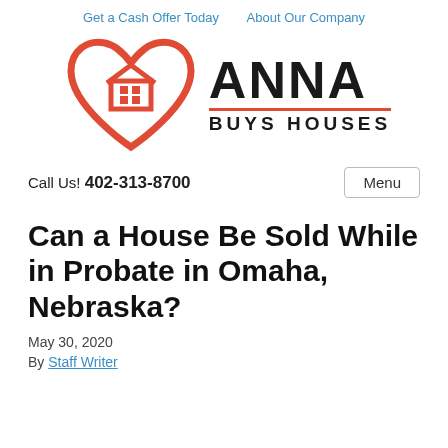Get a Cash Offer Today   About Our Company
[Figure (logo): Anna Buys Houses logo: red heart/house icon on the left, with 'ANNA' in large bold black text and 'BUYS HOUSES' in smaller bold black text to the right, with a red underline beneath 'BUYS HOUSES'.]
Call Us! 402-313-8700
Can a House Be Sold While in Probate in Omaha, Nebraska?
May 30, 2020
By Staff Writer